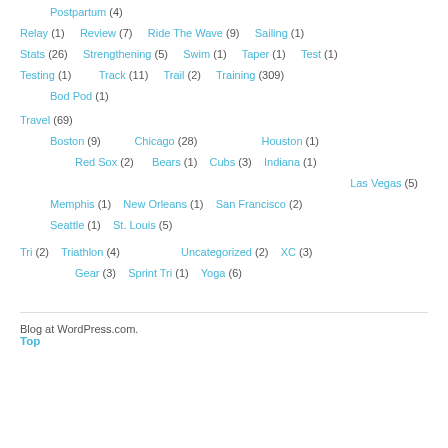Postpartum (4)
Relay (1)  Review (7)  Ride The Wave (9)  Sailing (1)
Stats (26)  Strengthening (5)  Swim (1)  Taper (1)  Test (1)
Testing (1)  Track (11)  Trail (2)  Training (309)
Bod Pod (1)
Travel (69)
Boston (9)  Chicago (28)  Houston (1)
Red Sox (2)  Bears (1)  Cubs (3)  Indiana (1)
Las Vegas (5)
Memphis (1)  New Orleans (1)  San Francisco (2)
Seattle (1)  St. Louis (5)
Tri (2)  Triathlon (4)  Uncategorized (2)  XC (3)
Gear (3)  Sprint Tri (1)  Yoga (6)
Blog at WordPress.com.
Top